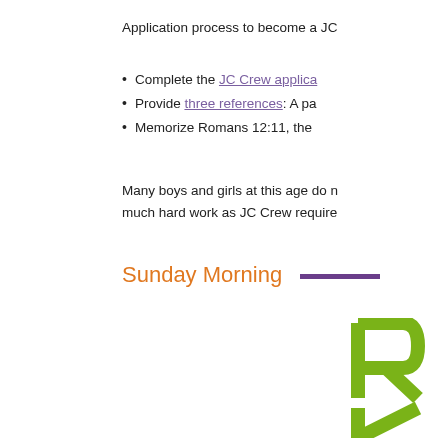Application process to become a JC
Complete the JC Crew applica
Provide three references: A pa
Memorize Romans 12:11, the
Many boys and girls at this age do n much hard work as JC Crew require
Sunday Morning
[Figure (logo): Partial green logo with letters R and K visible, clipped at right edge of page]